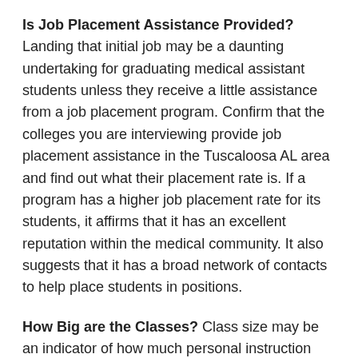Is Job Placement Assistance Provided? Landing that initial job may be a daunting undertaking for graduating medical assistant students unless they receive a little assistance from a job placement program. Confirm that the colleges you are interviewing provide job placement assistance in the Tuscaloosa AL area and find out what their placement rate is. If a program has a higher job placement rate for its students, it affirms that it has an excellent reputation within the medical community. It also suggests that it has a broad network of contacts to help place students in positions.
How Big are the Classes? Class size may be an indicator of how much personal instruction you will get during your training. Smaller classes and classes with a higher teacher to student ratio are more prone to offer increased access to teachers and face to face interaction. If possible, try to sit in on a couple of classes before selecting a school to see what the teaching